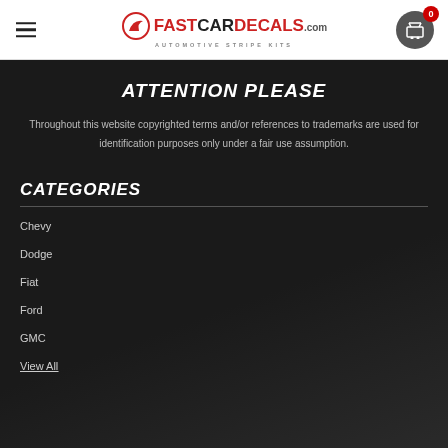FastCarDecals.com — Automotive Stripe Kits
ATTENTION PLEASE
Throughout this website copyrighted terms and/or references to trademarks are used for identification purposes only under a fair use assumption.
CATEGORIES
Chevy
Dodge
Fiat
Ford
GMC
View All